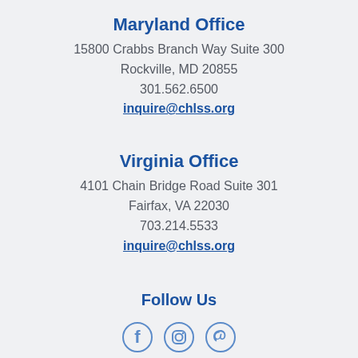Maryland Office
15800 Crabbs Branch Way Suite 300
Rockville, MD 20855
301.562.6500
inquire@chlss.org
Virginia Office
4101 Chain Bridge Road Suite 301
Fairfax, VA 22030
703.214.5533
inquire@chlss.org
Follow Us
[Figure (infographic): Social media icons: Facebook, Instagram, Pinterest]